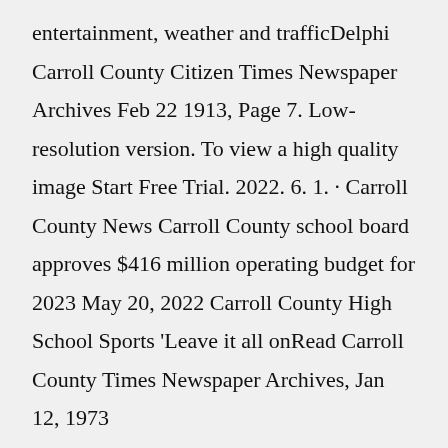entertainment, weather and trafficDelphi Carroll County Citizen Times Newspaper Archives Feb 22 1913, Page 7. Low-resolution version. To view a high quality image Start Free Trial. 2022. 6. 1. · Carroll County News Carroll County school board approves $416 million operating budget for 2023 May 20, 2022 Carroll County High School Sports 'Leave it all onRead Carroll County Times Newspaper Archives, Jan 12, 1973